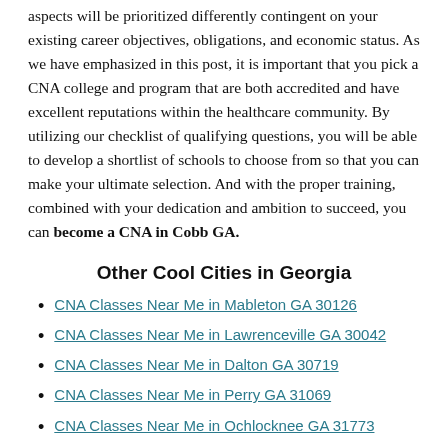aspects will be prioritized differently contingent on your existing career objectives, obligations, and economic status. As we have emphasized in this post, it is important that you pick a CNA college and program that are both accredited and have excellent reputations within the healthcare community. By utilizing our checklist of qualifying questions, you will be able to develop a shortlist of schools to choose from so that you can make your ultimate selection. And with the proper training, combined with your dedication and ambition to succeed, you can become a CNA in Cobb GA.
Other Cool Cities in Georgia
CNA Classes Near Me in Mableton GA 30126
CNA Classes Near Me in Lawrenceville GA 30042
CNA Classes Near Me in Dalton GA 30719
CNA Classes Near Me in Perry GA 31069
CNA Classes Near Me in Ochlocknee GA 31773